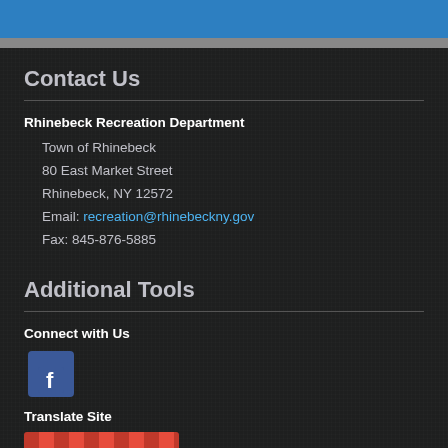Contact Us
Rhinebeck Recreation Department
Town of Rhinebeck
80 East Market Street
Rhinebeck, NY 12572
Email: recreation@rhinebeckny.gov
Fax: 845-876-5885
Additional Tools
Connect with Us
[Figure (logo): Facebook logo icon in blue square]
Translate Site
[Figure (other): Translate site widget bar]